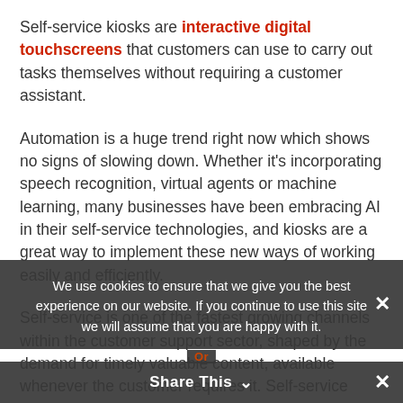Self-service kiosks are interactive digital touchscreens that customers can use to carry out tasks themselves without requiring a customer assistant.
Automation is a huge trend right now which shows no signs of slowing down. Whether it's incorporating speech recognition, virtual agents or machine learning, many businesses have been embracing AI in their self-service technologies, and kiosks are a great way to implement these new ways of working easily and efficiently.
Self-service is one of the fastest growing channels within the customer support sector, shaped by the demand for timely valuable content, available whenever the customer requires it. Self-service kiosks have an always-on response, providing constant customer su[pport] an translate into
We use cookies to ensure that we give you the best experience on our website. If you continue to use this site we will assume that you are happy with it.
Share This